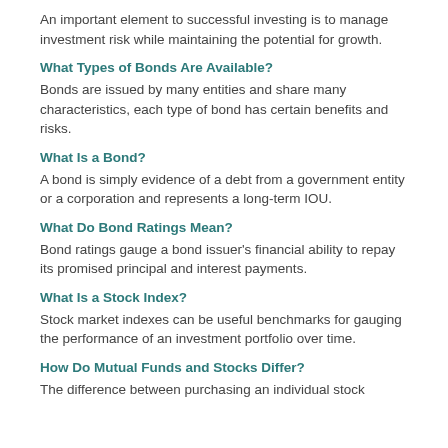An important element to successful investing is to manage investment risk while maintaining the potential for growth.
What Types of Bonds Are Available?
Bonds are issued by many entities and share many characteristics, each type of bond has certain benefits and risks.
What Is a Bond?
A bond is simply evidence of a debt from a government entity or a corporation and represents a long-term IOU.
What Do Bond Ratings Mean?
Bond ratings gauge a bond issuer's financial ability to repay its promised principal and interest payments.
What Is a Stock Index?
Stock market indexes can be useful benchmarks for gauging the performance of an investment portfolio over time.
How Do Mutual Funds and Stocks Differ?
The difference between purchasing an individual stock...